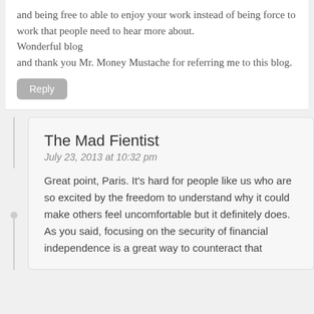and being free to able to enjoy your work instead of being force to work that people need to hear more about.
Wonderful blog
and thank you Mr. Money Mustache for referring me to this blog.
Reply
The Mad Fientist
July 23, 2013 at 10:32 pm
Great point, Paris. It's hard for people like us who are so excited by the freedom to understand why it could make others feel uncomfortable but it definitely does. As you said, focusing on the security of financial independence is a great way to counteract that